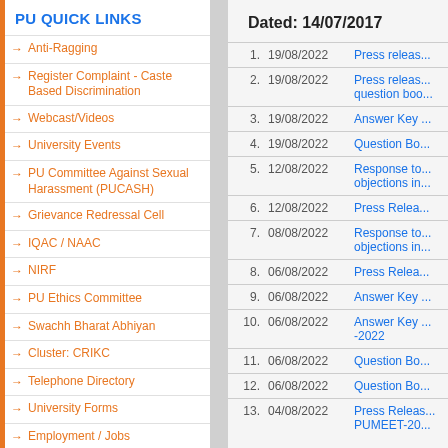PU QUICK LINKS
Anti-Ragging
Register Complaint - Caste Based Discrimination
Webcast/Videos
University Events
PU Committee Against Sexual Harassment (PUCASH)
Grievance Redressal Cell
IQAC / NAAC
NIRF
PU Ethics Committee
Swachh Bharat Abhiyan
Cluster: CRIKC
Telephone Directory
University Forms
Employment / Jobs
Right to Information
Alumni
Tenders
Dated: 14/07/2017
| # | Date | Title |
| --- | --- | --- |
| 1. | 19/08/2022 | Press releas... |
| 2. | 19/08/2022 | Press releas... question boo... |
| 3. | 19/08/2022 | Answer Key ... |
| 4. | 19/08/2022 | Question Bo... |
| 5. | 12/08/2022 | Response to... objections in... |
| 6. | 12/08/2022 | Press Relea... |
| 7. | 08/08/2022 | Response to... objections in... |
| 8. | 06/08/2022 | Press Relea... |
| 9. | 06/08/2022 | Answer Key ... |
| 10. | 06/08/2022 | Answer Key ... -2022 |
| 11. | 06/08/2022 | Question Bo... |
| 12. | 06/08/2022 | Question Bo... |
| 13. | 04/08/2022 | Press Releas... PUMEET-20... |